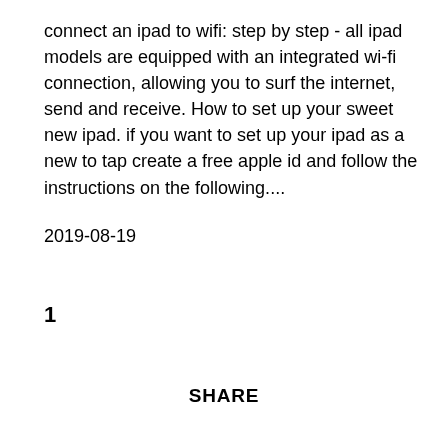connect an ipad to wifi: step by step - all ipad models are equipped with an integrated wi-fi connection, allowing you to surf the internet, send and receive. How to set up your sweet new ipad. if you want to set up your ipad as a new to tap create a free apple id and follow the instructions on the following....
2019-08-19
1
SHARE